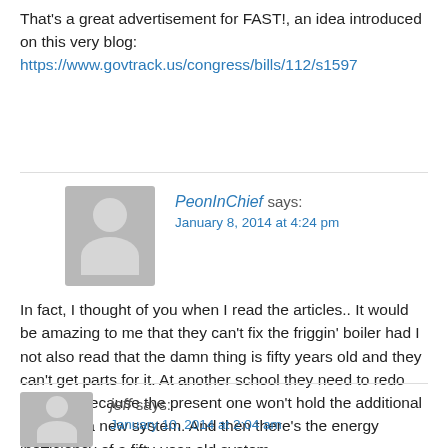That's a great advertisement for FAST!, an idea introduced on this very blog: https://www.govtrack.us/congress/bills/112/s1597
PeonInChief says: January 8, 2014 at 4:24 pm
[Figure (illustration): Gray avatar placeholder icon for user PeonInChief]
In fact, I thought of you when I read the articles.. It would be amazing to me that they can't fix the friggin' boiler had I not also read that the damn thing is fifty years old and they can't get parts for it. At another school they need to redo the roof, because the present one won't hold the additional weight of a new system. And then there's the energy inefficiency of a fifty-year-old system…
jeff says: January 10, 2014 at 2:04 am
[Figure (illustration): Gray avatar placeholder icon for user jeff]